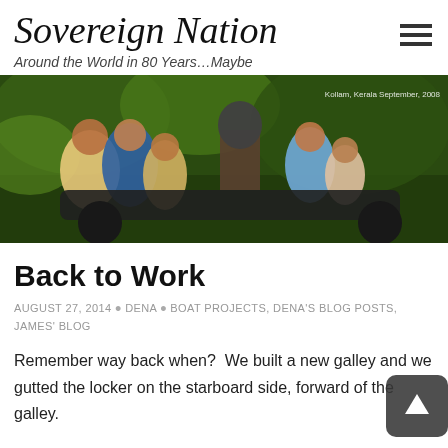Sovereign Nation
Around the World in 80 Years…Maybe
[Figure (photo): Family group riding on a motorcycle on a green road, Kollam, Kerala September, 2008]
Back to Work
AUGUST 27, 2014 • DENA • BOAT PROJECTS, DENA'S BLOG POSTS, JAMES' BLOG
Remember way back when?  We built a new galley and we gutted the locker on the starboard side, forward of the galley.